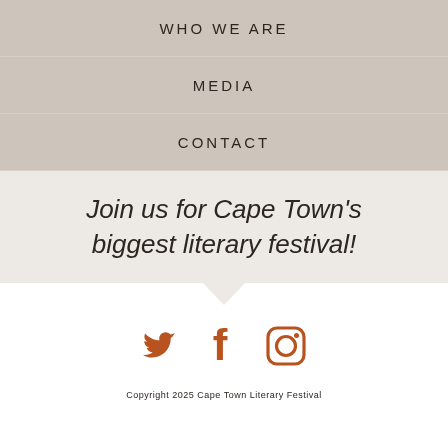WHO WE ARE
MEDIA
CONTACT
Join us for Cape Town's biggest literary festival!
[Figure (illustration): Social media icons: Twitter, Facebook, Instagram in orange/rust color]
Copyright 2025 Cape Town Literary Festival